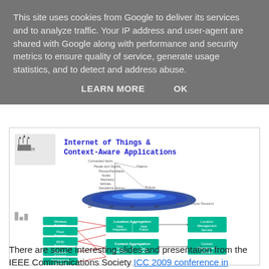This site uses cookies from Google to deliver its services and to analyze traffic. Your IP address and user-agent are shared with Google along with performance and security metrics to ensure quality of service, generate usage statistics, and to detect and address abuse.
LEARN MORE    OK
[Figure (infographic): Slide from ICC 2009 conference titled 'Internet of Things & Context-Aware Applications'. Shows a hierarchical diagram of IoT objects (People and Objects, Phones/Handhelds, Nodes, Machinery, Vehicles, Standalone devices, Laptops, Robots) with a scale showing 10^0 to 10^12. Below is a system architecture diagram showing Wireless Sensing, Floor Sensing, RFID Sensing, Pressure Sensing, Temperature Sensing feeding into Location Aggregation (Data Integration/Data Fusion) and Context Aggregation (Data Integration/Data Fusion), connected to Location Management Service and Context Management Service.]
There are some interesting slides and presentation from the IEEE Communications Society ICC 2009 conference in